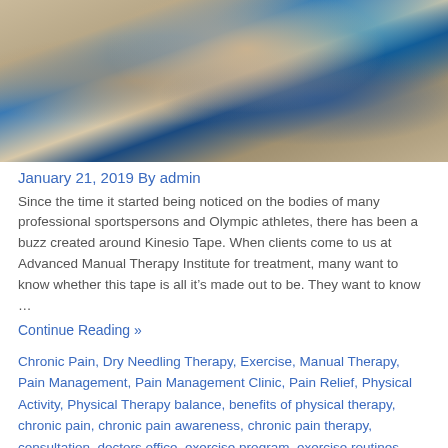[Figure (photo): A therapist applying blue kinesio tape to a patient's shoulder/arm area, showing hands applying the tape to skin, with teal background visible.]
January 21, 2019 By admin
Since the time it started being noticed on the bodies of many professional sportspersons and Olympic athletes, there has been a buzz created around Kinesio Tape. When clients come to us at Advanced Manual Therapy Institute for treatment, many want to know whether this tape is all it’s made out to be. They want to know …
Continue Reading »
Chronic Pain, Dry Needling Therapy, Exercise, Manual Therapy, Pain Management, Pain Management Clinic, Pain Relief, Physical Activity, Physical Therapy balance, benefits of physical therapy, chronic pain, chronic pain awareness, chronic pain therapy, consultation, doctors office, exercise program, exercise routines, health tips, kinesiology, ke…